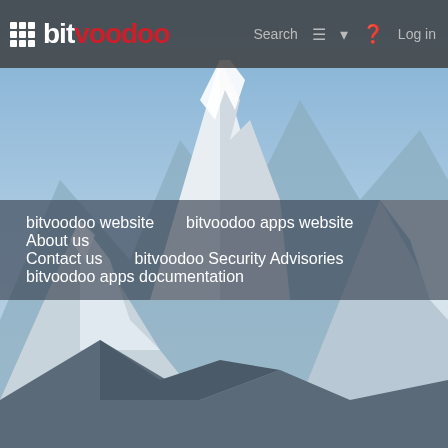[Figure (screenshot): bitvoodoo website screenshot showing mountain landscape background with navigation header and overlay menu links]
bitvoodoo
bitvoodoo website
bitvoodoo apps website
About us
Contact us
bitvoodoo Security Advisories
bitvoodoo apps documentation
v.
v. 14
v. 13
v. 12